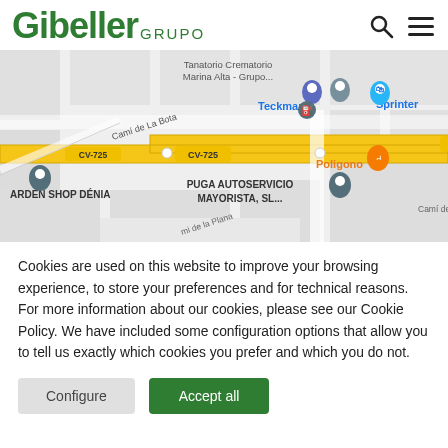Gibeller GRUPO
[Figure (map): Google Maps view showing CV-725 road, landmarks including Tanatorio Crematorio Marina Alta - Grupo..., Teckmar, Sprinter, Poligono, PUGA AUTOSERVICIO MAYORISTA SL, GARDEN SHOP DÉNIA, Camí de La Bota, Camí de la Plana]
Cookies are used on this website to improve your browsing experience, to store your preferences and for technical reasons. For more information about our cookies, please see our Cookie Policy. We have included some configuration options that allow you to tell us exactly which cookies you prefer and which you do not.